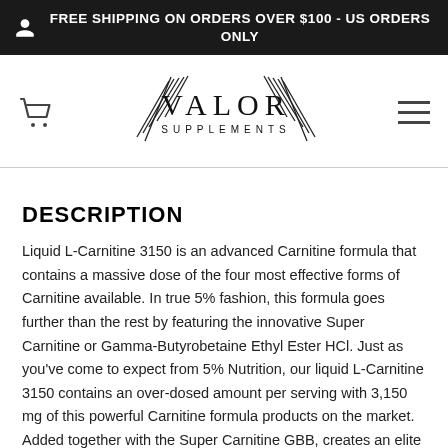FREE SHIPPING ON ORDERS OVER $100 - US ORDERS ONLY
[Figure (logo): Valor Supplements logo with decorative wing-like lines on either side of the text]
DESCRIPTION
Liquid L-Carnitine 3150 is an advanced Carnitine formula that contains a massive dose of the four most effective forms of Carnitine available. In true 5% fashion, this formula goes further than the rest by featuring the innovative Super Carnitine or Gamma-Butyrobetaine Ethyl Ester HCl. Just as you've come to expect from 5% Nutrition, our liquid L-Carnitine 3150 contains an over-dosed amount per serving with 3,150 mg of this powerful Carnitine formula products on the market. Added together with the Super Carnitine GBB, creates an elite Liquid Carnitine